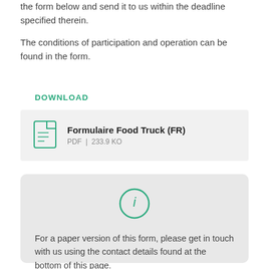the form below and send it to us within the deadline specified therein.
The conditions of participation and operation can be found in the form.
DOWNLOAD
[Figure (other): Download card showing a document icon with title 'Formulaire Food Truck (FR)', file type PDF and size 233.9 KO]
[Figure (infographic): Information box with a circular info icon (i) and text: For a paper version of this form, please get in touch with us using the contact details found at the bottom of this page.]